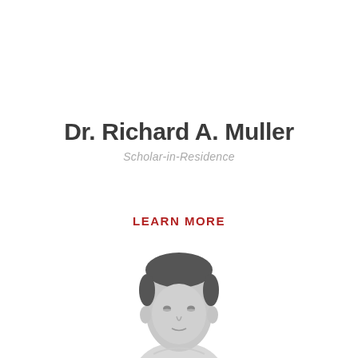Dr. Richard A. Muller
Scholar-in-Residence
LEARN MORE
[Figure (photo): Black and white photo of Dr. Richard A. Muller, partially visible, showing the top of his head and face from the chin up, cropped at the bottom of the page.]